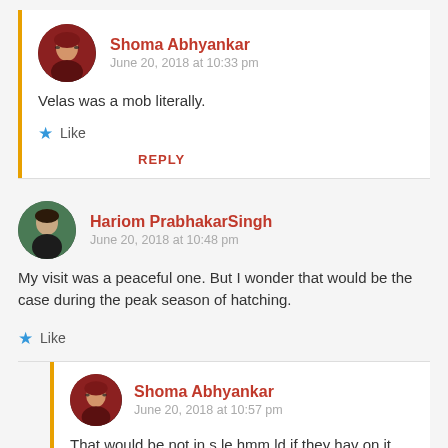Shoma Abhyankar
June 20, 2018 at 10:33 pm
Velas was a mob literally.
Like
REPLY
Hariom PrabhakarSingh
June 20, 2018 at 10:48 pm
My visit was a peaceful one. But I wonder that would be the case during the peak season of hatching.
Like
Shoma Abhyankar
June 20, 2018 at 10:57 pm
That would be not violent as what if they hav on it...